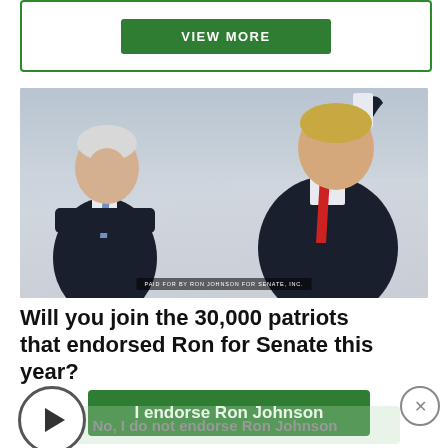[Figure (other): Green bordered box with VIEW MORE button]
[Figure (photo): Photo of two men in dark suits standing together. Left man (Ron Johnson) has white hair and blue tie, smiling. Right man (Trump) has blonde hair and red tie, raising his right arm. Watermark reads PAID FOR BY RON JOHNSON FOR SENATE, INC.]
Will you join the 30,000 patriots that endorsed Ron for Senate this year?
I endorse Ron Johnson
No, I do not endorse Ron Johnson